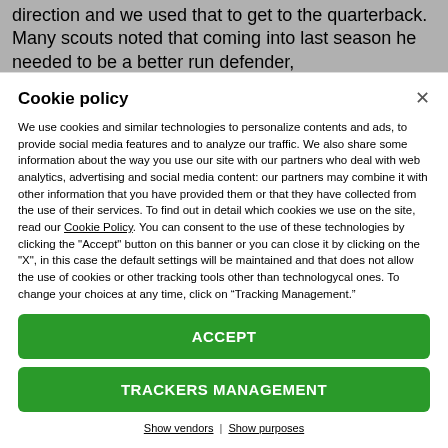...direction and we used that to get to the quarterback. Many scouts noted that coming into last season he needed to be a better run defender,
Cookie policy
We use cookies and similar technologies to personalize contents and ads, to provide social media features and to analyze our traffic. We also share some information about the way you use our site with our partners who deal with web analytics, advertising and social media content: our partners may combine it with other information that you have provided them or that they have collected from the use of their services. To find out in detail which cookies we use on the site, read our Cookie Policy. You can consent to the use of these technologies by clicking the "Accept" button on this banner or you can close it by clicking on the "X", in this case the default settings will be maintained and that does not allow the use of cookies or other tracking tools other than technologycal ones. To change your choices at any time, click on “Tracking Management.”
ACCEPT
TRACKERS MANAGEMENT
Show vendors | Show purposes